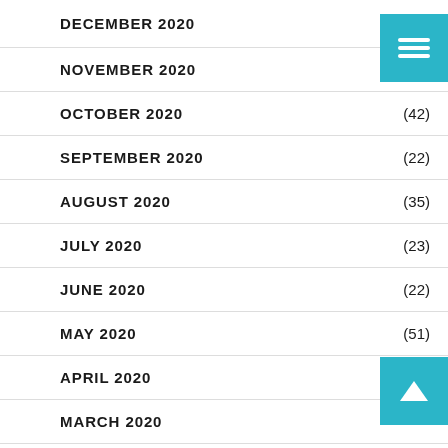DECEMBER 2020 (63)
NOVEMBER 2020 (50)
OCTOBER 2020 (42)
SEPTEMBER 2020 (22)
AUGUST 2020 (35)
JULY 2020 (23)
JUNE 2020 (22)
MAY 2020 (51)
APRIL 2020 (58)
MARCH 2020
FEBRUARY 2020 (41)